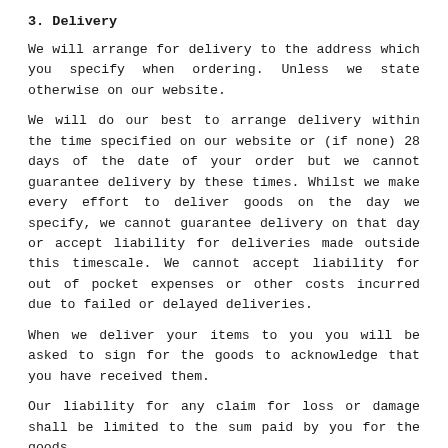3. Delivery
We will arrange for delivery to the address which you specify when ordering. Unless we state otherwise on our website.
We will do our best to arrange delivery within the time specified on our website or (if none) 28 days of the date of your order but we cannot guarantee delivery by these times. Whilst we make every effort to deliver goods on the day we specify, we cannot guarantee delivery on that day or accept liability for deliveries made outside this timescale. We cannot accept liability for out of pocket expenses or other costs incurred due to failed or delayed deliveries.
When we deliver your items to you you will be asked to sign for the goods to acknowledge that you have received them.
Our liability for any claim for loss or damage shall be limited to the sum paid by you for the goods.
4. Returns
If you are not 100% happy with your purchase you may return it to us at your own cost by A SIGNED FOR POST SERVICE within 28 days. Upon us receiving your returned goods we shall refund you for those goods within 10 working days provided that they are in their